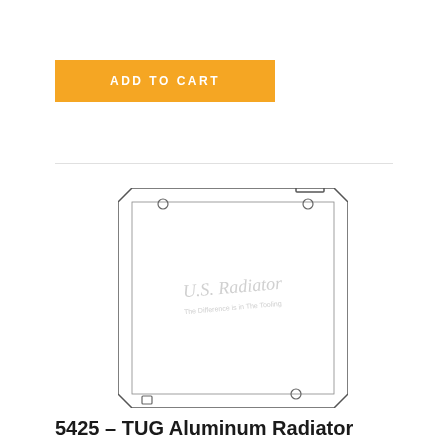ADD TO CART
[Figure (engineering-diagram): Technical line drawing of a TUG Aluminum Radiator (part 5425), showing a rectangular radiator with chamfered corners, mounting holes at top-right and bottom-center-right, and a small fitting at bottom-left. The U.S. Radiator logo and tagline 'The Difference is in The Tooling' are watermarked across the center of the diagram.]
5425 – TUG Aluminum Radiator